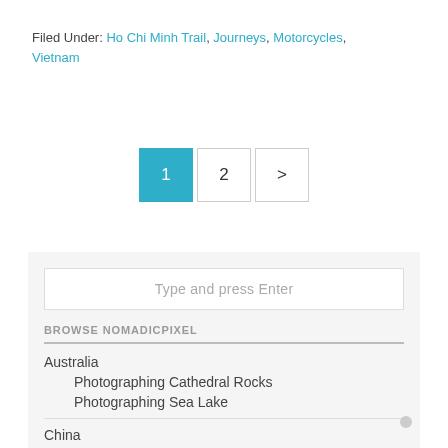Filed Under: Ho Chi Minh Trail, Journeys, Motorcycles, Vietnam
1 2 >
Type and press Enter
BROWSE NOMADICPIXEL
Australia
Photographing Cathedral Rocks
Photographing Sea Lake
China